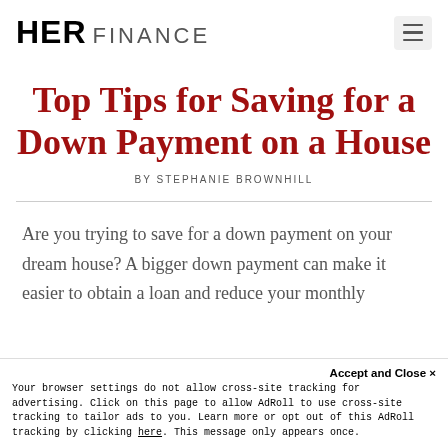HER FINANCE
Top Tips for Saving for a Down Payment on a House
BY STEPHANIE BROWNHILL
Are you trying to save for a down payment on your dream house? A bigger down payment can make it easier to obtain a loan and reduce your monthly mortgage payments.
Accept and Close ×
Your browser settings do not allow cross-site tracking for advertising. Click on this page to allow AdRoll to use cross-site tracking to tailor ads to you. Learn more or opt out of this AdRoll tracking by clicking here. This message only appears once.